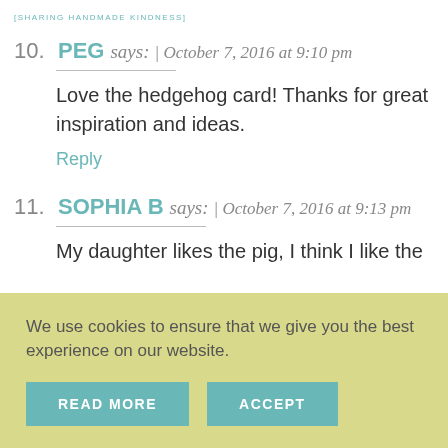[SHARING HANDMADE KINDNESS]
10. PEG says: | October 7, 2016 at 9:10 pm

Love the hedgehog card! Thanks for great inspiration and ideas.

Reply
11. SOPHIA B says: | October 7, 2016 at 9:13 pm

My daughter likes the pig, I think I like the
We use cookies to ensure that we give you the best experience on our website.